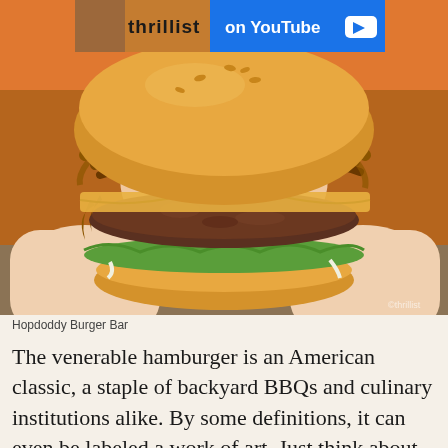[Figure (screenshot): Advertisement banner showing 'thrillist' branding on left with food imagery and 'on YouTube' text with play button on blue background on right]
[Figure (photo): Close-up photo of hands holding a gourmet burger with caramelized onions, melted cheese, lettuce, and sauce on a brioche bun, with french fries in the foreground. From Hopdoddy Burger Bar.]
Hopdoddy Burger Bar
The venerable hamburger is an American classic, a staple of backyard BBQs and culinary institutions alike. By some definitions, it can even be labeled a work of art. Just think about this: Americans alone consume 13 billion hamburgers per year, which is enough to circle the Earth thirty-two times. And